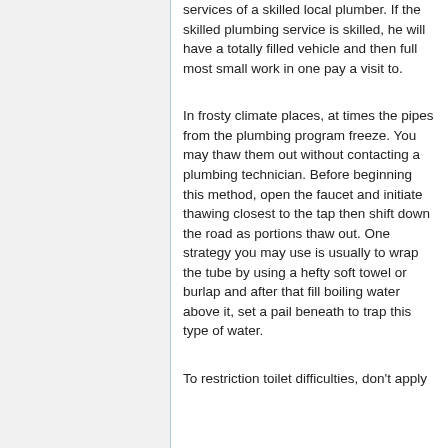services of a skilled local plumber. If the skilled plumbing service is skilled, he will have a totally filled vehicle and then full most small work in one pay a visit to.
In frosty climate places, at times the pipes from the plumbing program freeze. You may thaw them out without contacting a plumbing technician. Before beginning this method, open the faucet and initiate thawing closest to the tap then shift down the road as portions thaw out. One strategy you may use is usually to wrap the tube by using a hefty soft towel or burlap and after that fill boiling water above it, set a pail beneath to trap this type of water.
To restriction toilet difficulties, don't apply...